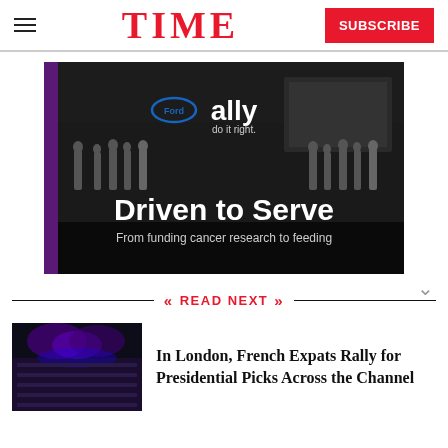TIME
[Figure (photo): Advertisement: 'ally do it right.' with text 'Driven to Serve – From funding cancer research to feeding' against a dark background showing people on a stage.]
READ NEXT
[Figure (photo): Thumbnail photo of a concert hall lit with purple/blue lights, rows of seats visible.]
In London, French Expats Rally for Presidential Picks Across the Channel